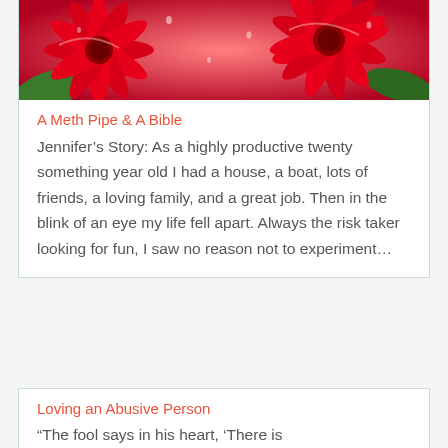[Figure (photo): Close-up photo of red gerbera daisy flowers with water droplets on petals and green background]
A Meth Pipe & A Bible
Jennifer's Story: As a highly productive twenty something year old I had a house, a boat, lots of friends, a loving family, and a great job. Then in the blink of an eye my life fell apart. Always the risk taker looking for fun, I saw no reason not to experiment…
Loving an Abusive Person
“The fool says in his heart, ‘There is